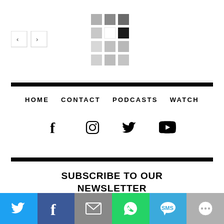[Figure (logo): Grid logo made of gray and black squares in a 3x4 pattern]
[Figure (other): Navigation left/right arrow buttons]
[Figure (other): Thick black horizontal rule]
HOME   CONTACT   PODCASTS   WATCH
[Figure (other): Social media icons row: Facebook, Instagram, Twitter, YouTube]
[Figure (other): Thick black horizontal rule]
SUBSCRIBE TO OUR NEWSLETTER
[Figure (other): Share bar with Twitter, Facebook, Email, WhatsApp, SMS, and More buttons]